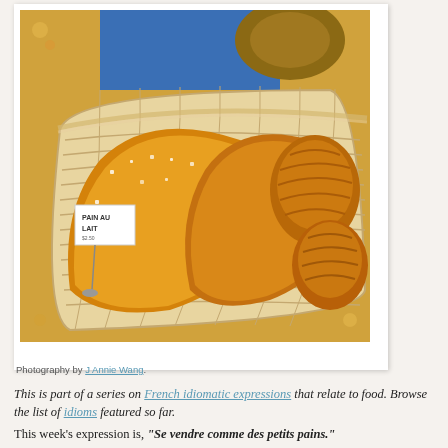[Figure (photo): A wicker basket filled with French bread rolls and pastries including pain au lait, displayed on a yellow floral tablecloth. A small sign in the basket reads 'PAIN AU LAIT'.]
Photography by J Annie Wang.
This is part of a series on French idiomatic expressions that relate to food. Browse the list of idioms featured so far.
This week's expression is, "Se vendre comme des petits pains."